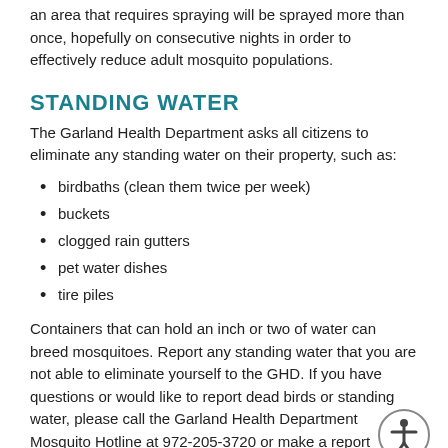an area that requires spraying will be sprayed more than once, hopefully on consecutive nights in order to effectively reduce adult mosquito populations.
STANDING WATER
The Garland Health Department asks all citizens to eliminate any standing water on their property, such as:
birdbaths (clean them twice per week)
buckets
clogged rain gutters
pet water dishes
tire piles
Containers that can hold an inch or two of water can breed mosquitoes. Report any standing water that you are not able to eliminate yourself to the GHD. If you have questions or would like to report dead birds or standing water, please call the Garland Health Department Mosquito Hotline at 972-205-3720 or make a report